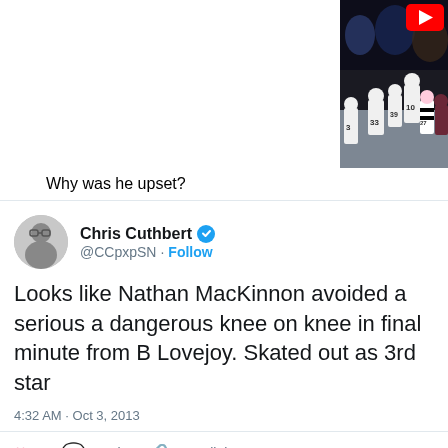[Figure (screenshot): Hockey game screenshot with YouTube play button overlay, showing players in white and dark jerseys with a referee (#27) on ice]
Why was he upset?
Chris Cuthbert @CCpxSN · Follow
Looks like Nathan MacKinnon avoided a serious a dangerous knee on knee in final minute from B Lovejoy. Skated out as 3rd star
4:32 AM · Oct 3, 2013
1 Reply Copy link
Read 2 replies